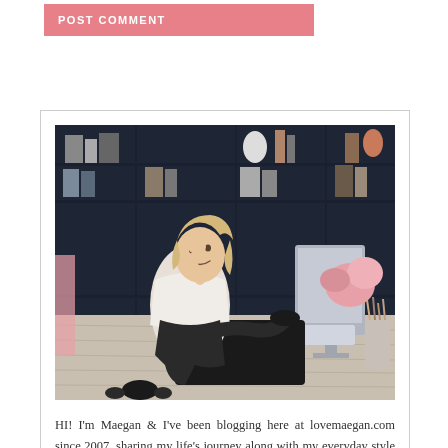POST COMMENT
[Figure (photo): A blonde woman sitting at a large wooden desk in a dark navy home office with built-in shelving, smiling and looking up. She is wearing a white top and black pants, with a computer monitor, keyboard, and makeup brushes on the desk.]
HI! I'm Maegan & I've been blogging here at lovemaegan.com since 2007, sharing my life's journey along with my everyday style and fashion, fun DIYS, hair